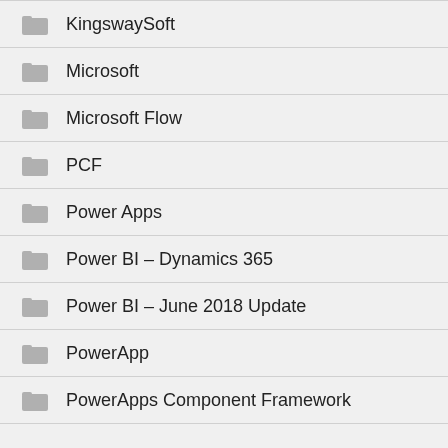KingswaySoft
Microsoft
Microsoft Flow
PCF
Power Apps
Power BI – Dynamics 365
Power BI – June 2018 Update
PowerApp
PowerApps Component Framework